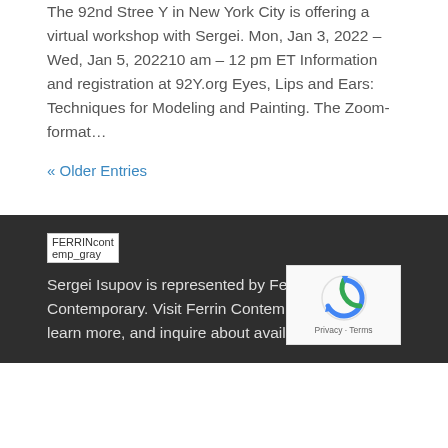The 92nd Stree Y in New York City is offering a virtual workshop with Sergei. Mon, Jan 3, 2022 – Wed, Jan 5, 202210 am – 12 pm ET Information and registration at 92Y.org Eyes, Lips and Ears: Techniques for Modeling and Painting. The Zoom-format…
« Older Entries
[Figure (other): FERRINcontemp_gray logo placeholder image]
Sergei Isupov is represented by Ferrin Contemporary. Visit Ferrin Contemporary online to learn more, and inquire about available works.